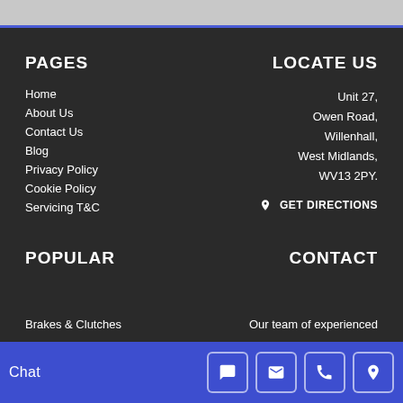[Figure (screenshot): Top strip showing partial image content, gray background with blue bottom border]
PAGES
Home
About Us
Contact Us
Blog
Privacy Policy
Cookie Policy
Servicing T&C
LOCATE US
Unit 27,
Owen Road,
Willenhall,
West Midlands,
WV13 2PY.
GET DIRECTIONS
POPULAR
Brakes & Clutches
Gearboxes & Geared Motors
CONTACT
Our team of experienced
Chat